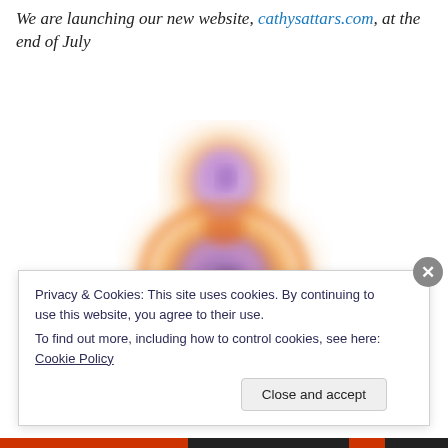We are launching our new website, cathysattars.com, at the end of July
[Figure (photo): A colorful, blurred/glowing biological or artistic image showing two rounded forms arranged vertically, with orange, purple, and pink hues on a white background.]
Privacy & Cookies: This site uses cookies. By continuing to use this website, you agree to their use. To find out more, including how to control cookies, see here: Cookie Policy
Close and accept